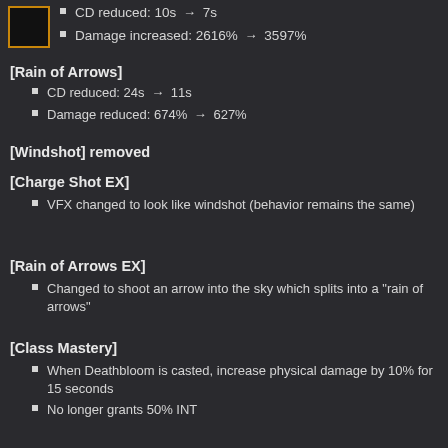[Figure (other): Small black square icon with orange border]
CD reduced: 10s → 7s
Damage increased: 2616% → 3597%
[Rain of Arrows]
CD reduced: 24s → 11s
Damage reduced: 674% → 627%
[Windshot] removed
[Charge Shot EX]
VFX changed to look like windshot (behavior remains the same)
[Rain of Arrows EX]
Changed to shoot an arrow into the sky which splits into a "rain of arrows"
[Class Mastery]
When Deathbloom is casted, increase physical damage by 10% for 15 seconds
No longer grants 50% INT